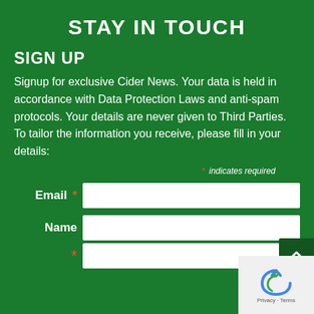STAY IN TOUCH
SIGN UP
Signup for exclusive Cider News. Your data is held in accordance with Data Protection Laws and anti-spam protocols. Your details are never given to Third Parties.
To tailor the information you receive, please fill in your details:
* indicates required
Email *
Name *